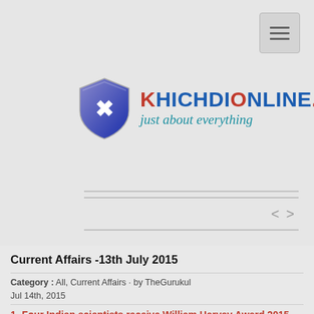[Figure (logo): KhichdiOnline.com logo with blue shield icon containing K letter and red/blue text 'KhichdiOnline.com' with tagline 'just about everything']
Current Affairs -13th July 2015
Category : All, Current Affairs · by TheGurukul
Jul 14th, 2015
1- Four Indian scientists receive William Harvey Award 2015